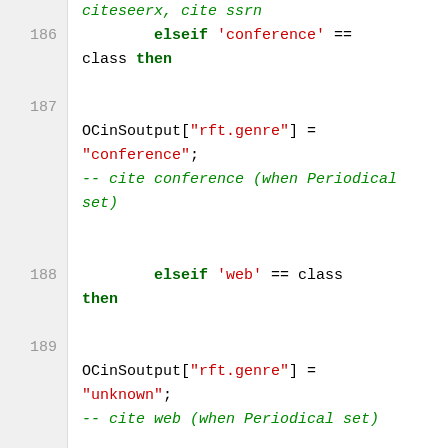Source code snippet showing conditional logic for rft.genre assignment based on class type (conference, web, else), lines 186-191